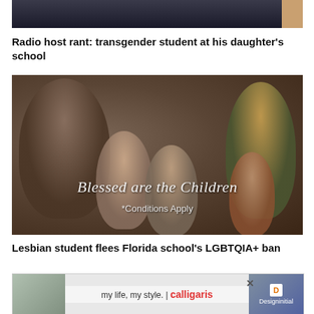[Figure (photo): Top portion of a photo showing a dark background with a person, partially cropped]
Radio host rant: transgender student at his daughter's school
[Figure (photo): Religious painting depicting Jesus and Mary with children, overlaid with text 'Blessed are the Children *Conditions Apply']
Lesbian student flees Florida school's LGBTQIA+ ban
[Figure (photo): Advertisement banner: 'my life, my style. | calligaris' with DesignInitial logo]